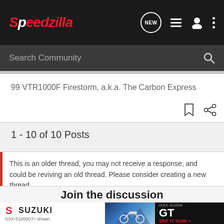Speedzilla
Search Community
99 VTR1000F Firestorm, a.k.a. The Carbon Express
1 - 10 of 10 Posts
This is an older thread, you may not receive a response, and could be reviving an old thread. Please consider creating a new thread.
Join the discussion
[Figure (screenshot): Suzuki GSX-S1000 GT advertisement banner at the bottom of the page. Left section shows Suzuki logo and 'GSX-S1000GT+ shown.' caption in white background. Middle section shows a blue motorcycle scenic photo. Right section shows 'GSX-S1000' text, 'GT' in large white letters, and 'SEE IT NOW >>' in red on dark background.]